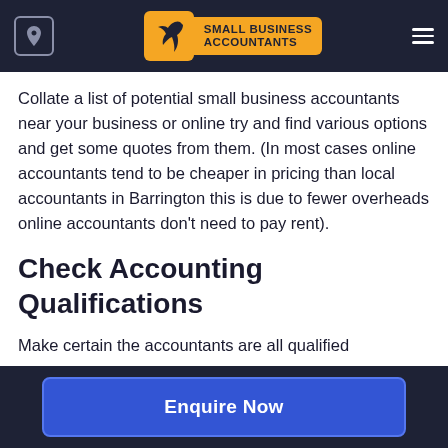[Figure (logo): Small Business Accountants logo with orange bird icon and text on dark navy header bar]
Collate a list of potential small business accountants near your business or online try and find various options and get some quotes from them. (In most cases online accountants tend to be cheaper in pricing than local accountants in Barrington this is due to fewer overheads online accountants don't need to pay rent).
Check Accounting Qualifications
Make certain the accountants are all qualified
Enquire Now